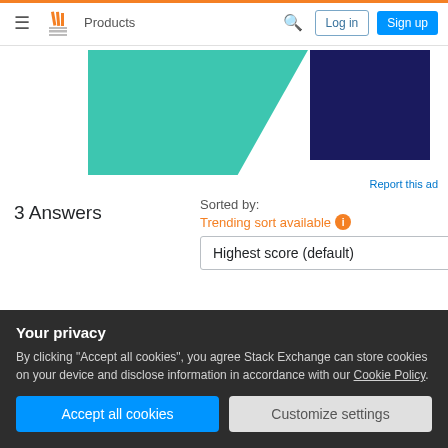Stack Overflow — Products | Log in | Sign up
[Figure (illustration): Stack Overflow advertisement banner with teal geometric shape and dark navy rectangle]
Report this ad
Sorted by:
Trending sort available ℹ
3 Answers
Highest score (default)
This is expected behavior. When you assign to an index of an object To it'll create the...
Your privacy
By clicking "Accept all cookies", you agree Stack Exchange can store cookies on your device and disclose information in accordance with our Cookie Policy.
Accept all cookies
Customize settings